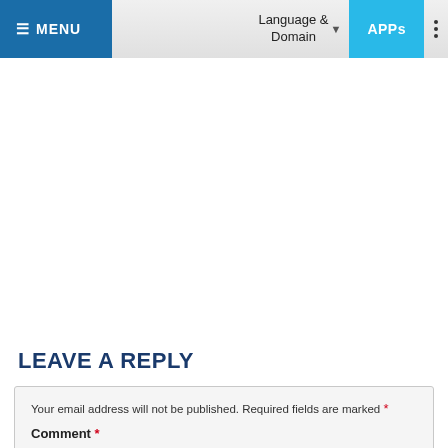≡ MENU   Language & Domain ˅   APPs   ⋮
LEAVE A REPLY
Your email address will not be published. Required fields are marked *
Comment *